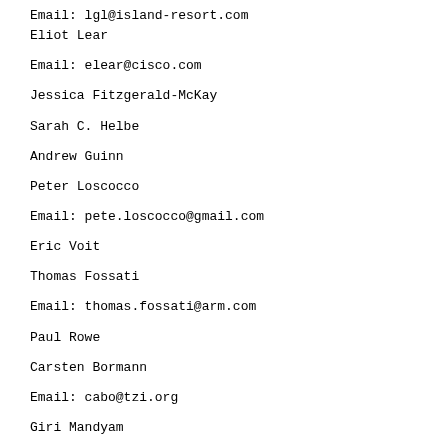Email: lgl@island-resort.com
Eliot Lear
Email: elear@cisco.com
Jessica Fitzgerald-McKay
Sarah C. Helbe
Andrew Guinn
Peter Loscocco
Email: pete.loscocco@gmail.com
Eric Voit
Thomas Fossati
Email: thomas.fossati@arm.com
Paul Rowe
Carsten Bormann
Email: cabo@tzi.org
Giri Mandyam
Email: mandyam@qti.qualcomm.com